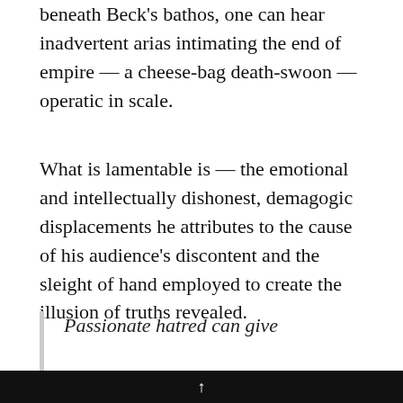beneath Beck's bathos, one can hear inadvertent arias intimating the end of empire — a cheese-bag death-swoon — operatic in scale.
What is lamentable is — the emotional and intellectually dishonest, demagogic displacements he attributes to the cause of his audience's discontent and the sleight of hand employed to create the illusion of truths revealed.
Passionate hatred can give meaning and purpose to an empty
↑